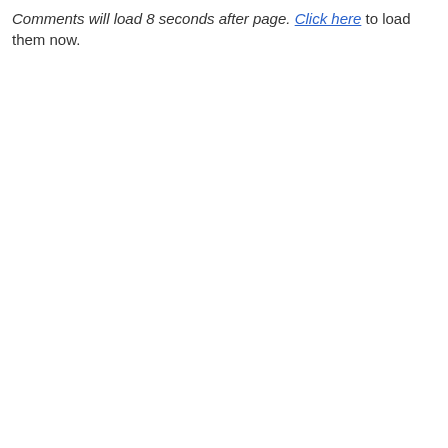Comments will load 8 seconds after page. Click here to load them now.